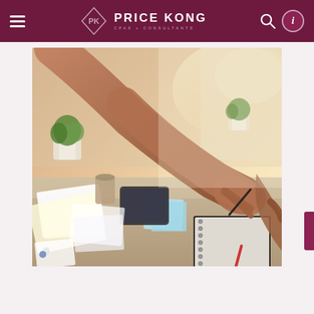Price Kong CPAs + Consultants
[Figure (photo): A person's hand holding a pen reaching across a desk covered with papers, sticky notes, a tablet, and a spiral notebook. Plants and warm sunlight in the background. Another person's hand visible at right edge.]